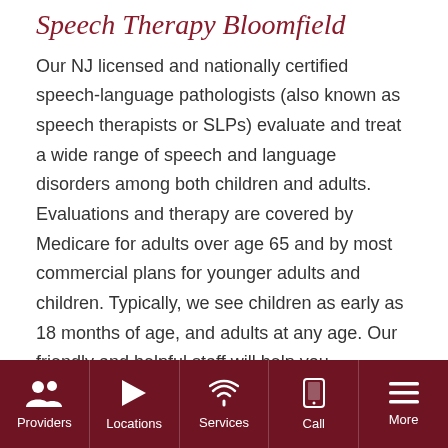Speech Therapy Bloomfield
Our NJ licensed and nationally certified speech-language pathologists (also known as speech therapists or SLPs) evaluate and treat a wide range of speech and language disorders among both children and adults. Evaluations and therapy are covered by Medicare for adults over age 65 and by most commercial plans for younger adults and children. Typically, we see children as early as 18 months of age, and adults at any age. Our friendly and helpful staff will help you
Providers | Locations | Services | Call | More